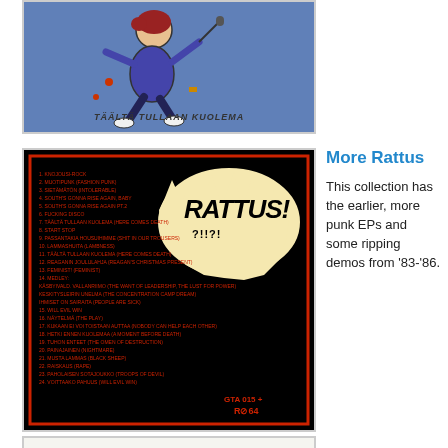[Figure (illustration): Cartoon illustration on blue background showing a running figure with text 'TÄÄLTÄ TULLAAN KUOLEMA' at bottom]
[Figure (photo): Rattus album back cover on black background with red border, tracklist in red text, Rattus! logo in cream/yellow, catalog number GTA 015 / R-64]
More Rattus
This collection has the earlier, more punk EPs and some ripping demos from '83-'86.